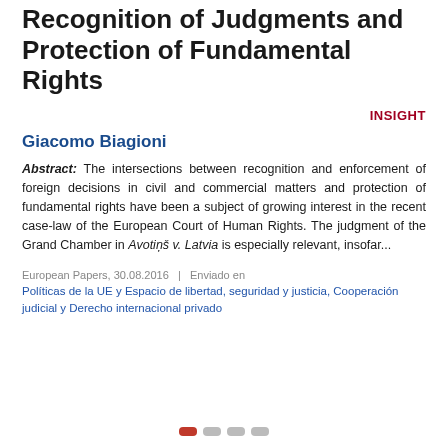Balance Between Mutual Recognition of Judgments and Protection of Fundamental Rights
INSIGHT
Giacomo Biagioni
Abstract: The intersections between recognition and enforcement of foreign decisions in civil and commercial matters and protection of fundamental rights have been a subject of growing interest in the recent case-law of the European Court of Human Rights. The judgment of the Grand Chamber in Avotiņš v. Latvia is especially relevant, insofar...
European Papers, 30.08.2016   |   Enviado en
Políticas de la UE y Espacio de libertad, seguridad y justicia, Cooperación judicial y Derecho internacional privado